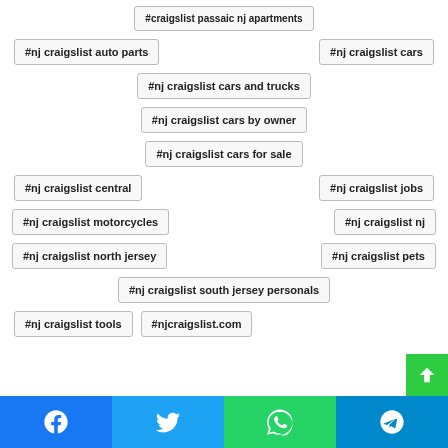#craigslist passaic nj apartments
#nj craigslist auto parts
#nj craigslist cars
#nj craigslist cars and trucks
#nj craigslist cars by owner
#nj craigslist cars for sale
#nj craigslist central
#nj craigslist jobs
#nj craigslist motorcycles
#nj craigslist nj
#nj craigslist north jersey
#nj craigslist pets
#nj craigslist south jersey personals
#nj craigslist tools
#njcraigslist.com